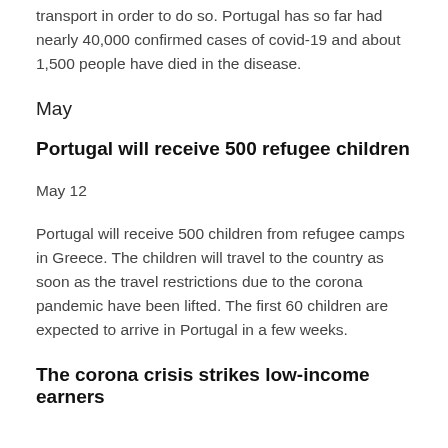restrictions, since they had to from and travel by public transport in order to do so. Portugal has so far had nearly 40,000 confirmed cases of covid-19 and about 1,500 people have died in the disease.
May
Portugal will receive 500 refugee children
May 12
Portugal will receive 500 children from refugee camps in Greece. The children will travel to the country as soon as the travel restrictions due to the corona pandemic have been lifted. The first 60 children are expected to arrive in Portugal in a few weeks.
The corona crisis strikes low-income earners